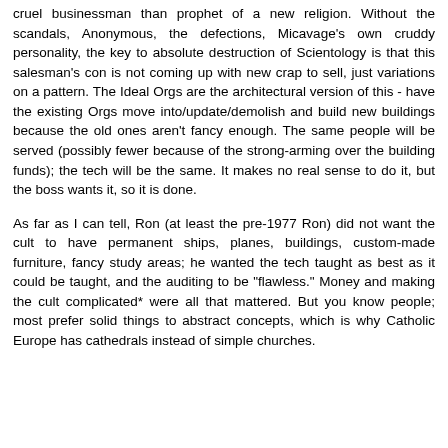cruel businessman than prophet of a new religion. Without the scandals, Anonymous, the defections, Micavage's own cruddy personality, the key to absolute destruction of Scientology is that this salesman's con is not coming up with new crap to sell, just variations on a pattern. The Ideal Orgs are the architectural version of this - have the existing Orgs move into/update/demolish and build new buildings because the old ones aren't fancy enough. The same people will be served (possibly fewer because of the strong-arming over the building funds); the tech will be the same. It makes no real sense to do it, but the boss wants it, so it is done.
As far as I can tell, Ron (at least the pre-1977 Ron) did not want the cult to have permanent ships, planes, buildings, custom-made furniture, fancy study areas; he wanted the tech taught as best as it could be taught, and the auditing to be "flawless." Money and making the cult complicated* were all that mattered. But you know people; most prefer solid things to abstract concepts, which is why Catholic Europe has cathedrals instead of simple churches.